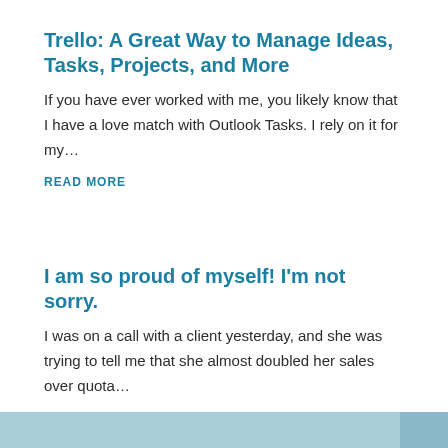Trello: A Great Way to Manage Ideas, Tasks, Projects, and More
If you have ever worked with me, you likely know that I have a love match with Outlook Tasks. I rely on it for my…
READ MORE
I am so proud of myself! I'm not sorry.
I was on a call with a client yesterday, and she was trying to tell me that she almost doubled her sales over quota…
READ MORE